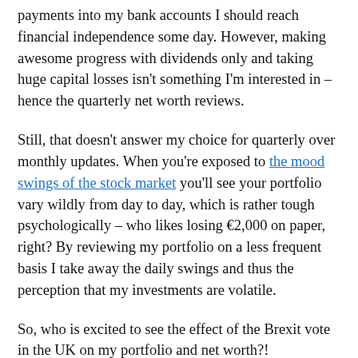payments into my bank accounts I should reach financial independence some day. However, making awesome progress with dividends only and taking huge capital losses isn't something I'm interested in – hence the quarterly net worth reviews.
Still, that doesn't answer my choice for quarterly over monthly updates. When you're exposed to the mood swings of the stock market you'll see your portfolio vary wildly from day to day, which is rather tough psychologically – who likes losing €2,000 on paper, right? By reviewing my portfolio on a less frequent basis I take away the daily swings and thus the perception that my investments are volatile.
So, who is excited to see the effect of the Brexit vote in the UK on my portfolio and net worth?!